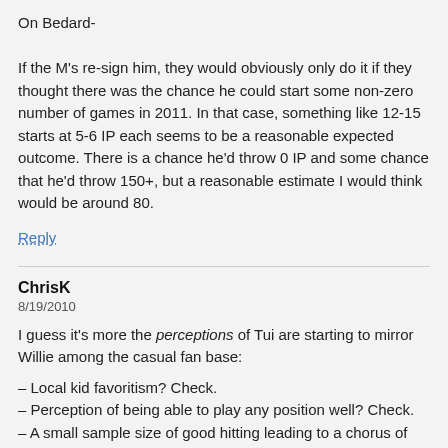On Bedard-

If the M's re-sign him, they would obviously only do it if they thought there was the chance he could start some non-zero number of games in 2011. In that case, something like 12-15 starts at 5-6 IP each seems to be a reasonable expected outcome. There is a chance he'd throw 0 IP and some chance that he'd throw 150+, but a reasonable estimate I would think would be around 80.
Reply
ChrisK
8/19/2010
I guess it's more the perceptions of Tui are starting to mirror Willie among the casual fan base:
– Local kid favoritism? Check.
– Perception of being able to play any position well? Check.
– A small sample size of good hitting leading to a chorus of "Let Him Play Everyday!" sentiment? Check.